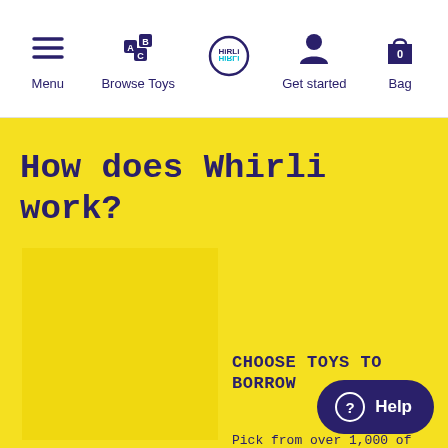Menu | Browse Toys | Whirli (logo) | Get started | Bag 0
How does Whirli work?
[Figure (screenshot): Yellow section with image placeholder on left]
CHOOSE TOYS TO BORROW
Pick from over 1,000 of...
Help